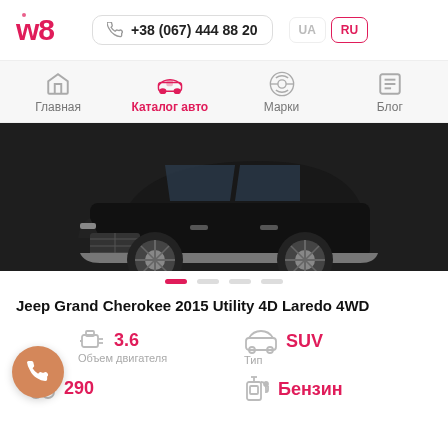w8  +38 (067) 444 88 20  UA  RU
Главная  Каталог авто  Марки  Блог
[Figure (photo): Black Jeep Grand Cherokee SUV front-side view on dark background]
Jeep Grand Cherokee 2015 Utility 4D Laredo 4WD
3.6  Объем двигателя
SUV  Тип
290
Бензин